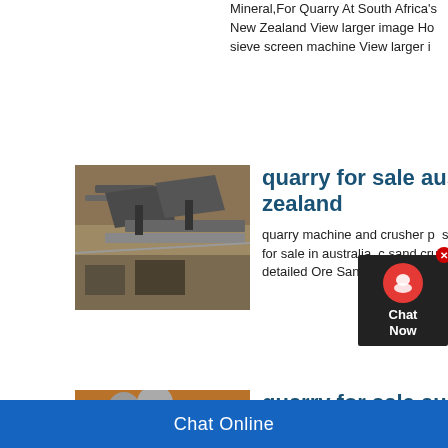Mineral,For Quarry At South Africa's New Zealand View larger image Ho sieve screen machine View larger i
[Figure (photo): Quarry machinery and conveyor belts at a mining site, aerial/side view]
quarry for sale australia zealand
quarry machine and crusher p s or quarry for sale in australia c sand crusher . »More detailed Ore Sand Timber .
[Figure (photo): Large quarry plant with silos and conveyor belts on red/orange earth, industrial mining facility]
quarry for sale australia zealand
quarry mining news nz aquabranding auckland new zealand, Tai Poutini R mining,This programme is more tha quarry plant and crusher in new zea